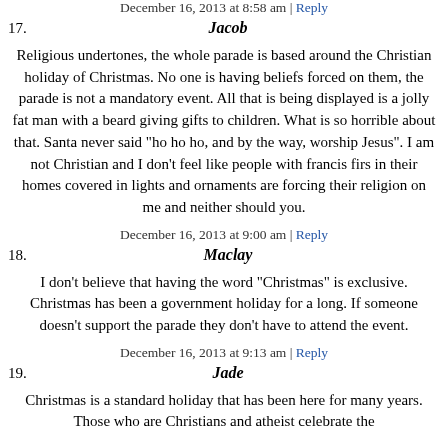December 16, 2013 at 8:58 am | Reply
17. Jacob
Religious undertones, the whole parade is based around the Christian holiday of Christmas. No one is having beliefs forced on them, the parade is not a mandatory event. All that is being displayed is a jolly fat man with a beard giving gifts to children. What is so horrible about that. Santa never said "ho ho ho, and by the way, worship Jesus". I am not Christian and I don't feel like people with francis firs in their homes covered in lights and ornaments are forcing their religion on me and neither should you.
December 16, 2013 at 9:00 am | Reply
18. Maclay
I don't believe that having the word "Christmas" is exclusive. Christmas has been a government holiday for a long. If someone doesn't support the parade they don't have to attend the event.
December 16, 2013 at 9:13 am | Reply
19. Jade
Christmas is a standard holiday that has been here for many years. Those who are Christians and atheist celebrate the